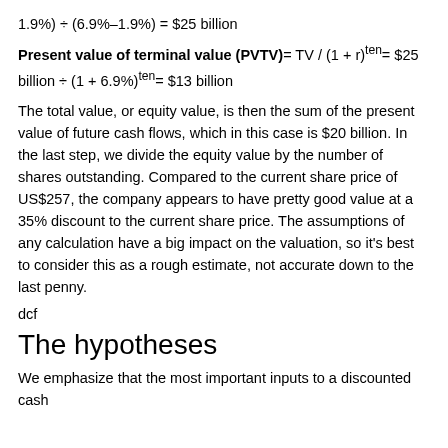Present value of terminal value (PVTV)= TV / (1 + r)ten= $25 billion ÷ (1 + 6.9%)ten= $13 billion
The total value, or equity value, is then the sum of the present value of future cash flows, which in this case is $20 billion. In the last step, we divide the equity value by the number of shares outstanding. Compared to the current share price of US$257, the company appears to have pretty good value at a 35% discount to the current share price. The assumptions of any calculation have a big impact on the valuation, so it's best to consider this as a rough estimate, not accurate down to the last penny.
dcf
The hypotheses
We emphasize that the most important inputs to a discounted cash